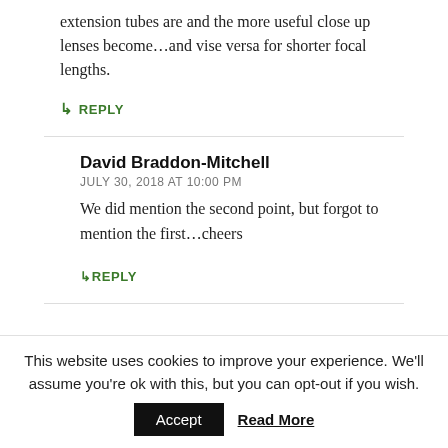extension tubes are and the more useful close up lenses become…and vise versa for shorter focal lengths.
↳ REPLY
David Braddon-Mitchell
JULY 30, 2018 AT 10:00 PM
We did mention the second point, but forgot to mention the first…cheers
↳ REPLY
This website uses cookies to improve your experience. We'll assume you're ok with this, but you can opt-out if you wish.
Accept   Read More